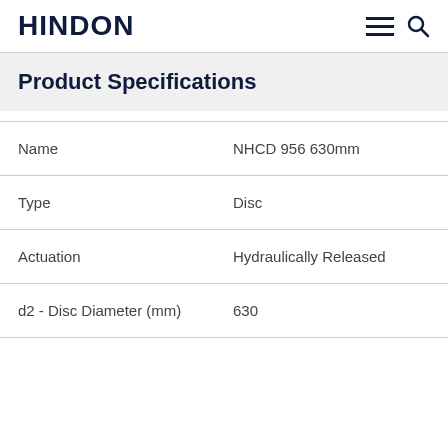HINDON
Product Specifications
| Property | Value |
| --- | --- |
| Name | NHCD 956 630mm |
| Type | Disc |
| Actuation | Hydraulically Released |
| d2 - Disc Diameter (mm) | 630 |